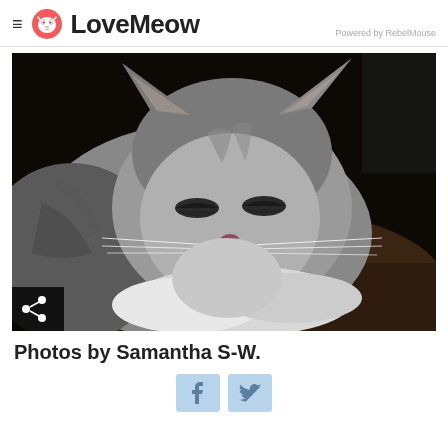LoveMeow — Powered by RebelMouse
[Figure (photo): A gray tabby kitten with eyes half-closed, resting its chin on its crossed white paws on a dark brown surface, photographed in dim lighting.]
Photos by Samantha S-W.